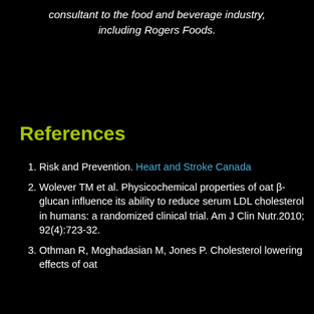consultant to the food and beverage industry, including Rogers Foods.
References
Risk and Prevention. Heart and Stroke Canada
Wolever TM et al. Physicochemical properties of oat β-glucan influence its ability to reduce serum LDL cholesterol in humans: a randomized clinical trial. Am J Clin Nutr.2010; 92(4):723-32.
Othman R, Moghadasian M, Jones P. Cholesterol lowering effects of oat...